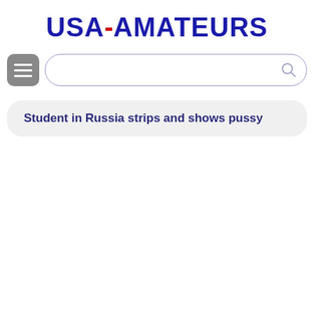USA-AMATEURS
[Figure (screenshot): Search bar with menu button and magnifying glass icon]
Student in Russia strips and shows pussy